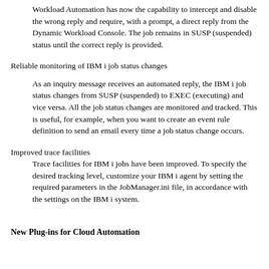Workload Automation has now the capability to intercept and disable the wrong reply and require, with a prompt, a direct reply from the Dynamic Workload Console. The job remains in SUSP (suspended) status until the correct reply is provided.
Reliable monitoring of IBM i job status changes
As an inquiry message receives an automated reply, the IBM i job status changes from SUSP (suspended) to EXEC (executing) and vice versa. All the job status changes are monitored and tracked. This is useful, for example, when you want to create an event rule definition to send an email every time a job status change occurs.
Improved trace facilities
Trace facilities for IBM i jobs have been improved. To specify the desired tracking level, customize your IBM i agent by setting the required parameters in the JobManager.ini file, in accordance with the settings on the IBM i system.
New Plug-ins for Cloud Automation